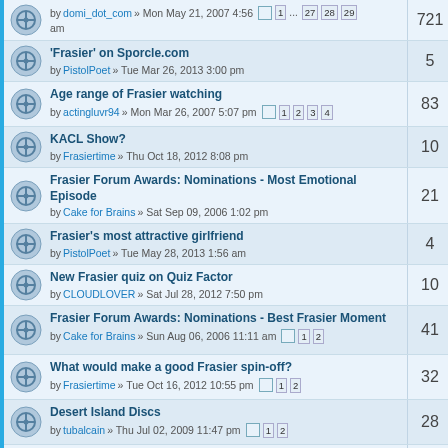by domi_dot_com » Mon May 21, 2007 4:56 am | pages 1 ... 27 28 29 | replies: 721
'Frasier' on Sporcle.com by PistolPoet » Tue Mar 26, 2013 3:00 pm | replies: 5
Age range of Frasier watching by actingluvr94 » Mon Mar 26, 2007 5:07 pm | pages 1 2 3 4 | replies: 83
KACL Show? by Frasiertime » Thu Oct 18, 2012 8:08 pm | replies: 10
Frasier Forum Awards: Nominations - Most Emotional Episode by Cake for Brains » Sat Sep 09, 2006 1:02 pm | replies: 21
Frasier's most attractive girlfriend by PistolPoet » Tue May 28, 2013 1:56 am | replies: 4
New Frasier quiz on Quiz Factor by CLOUDLOVER » Sat Jul 28, 2012 7:50 pm | replies: 10
Frasier Forum Awards: Nominations - Best Frasier Moment by Cake for Brains » Sun Aug 06, 2006 11:11 am | pages 1 2 | replies: 41
What would make a good Frasier spin-off? by Frasiertime » Tue Oct 16, 2012 10:55 pm | pages 1 2 | replies: 32
Desert Island Discs by tubalcain » Thu Jul 02, 2009 11:47 pm | pages 1 2 | replies: 28
A tough question: by Patrick » Sat Mar 02, 2013 11:22 am | replies: 3